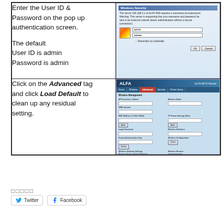Enter the User ID & Password on the pop up authentication screen.

The default
User ID is admin
Password is admin
[Figure (screenshot): Windows Security dialog box for server 192.168-2.1 at ALFA-R36, requesting username and password. Shows username field with 'admin', password field with dots, Remember my credentials checkbox, and OK/Cancel buttons.]
Click on the Advanced tag and click Load Default to clean up any residual setting.
[Figure (screenshot): ALFA router admin interface showing the Advanced tab selected (highlighted in red), with various network settings fields and a Load Default button highlighted with a red rectangle.]
□□□□□
Twitter  Facebook